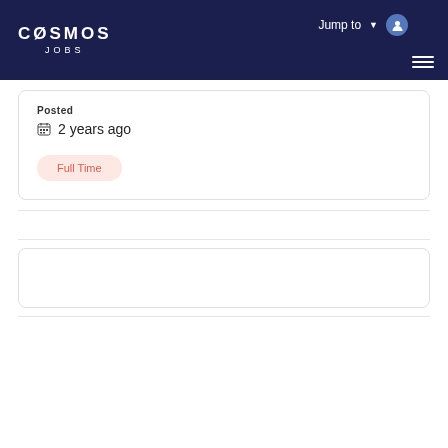COSMOS JOBS — Jump to (navigation header)
Posted
2 years ago
Full Time